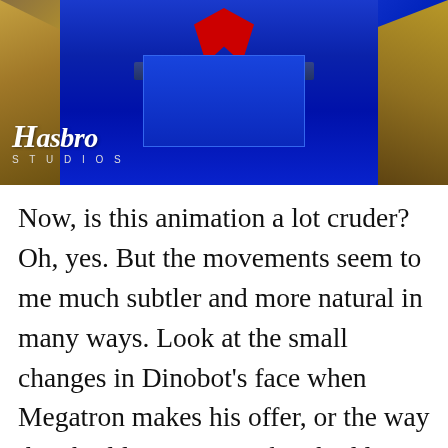[Figure (screenshot): Screenshot of an animated/CGI Transformer robot (Megatron) with a blue body and gold/bronze armored shoulders, red element at top center. Hasbro Studios logo is visible in the lower-left of the image.]
Now, is this animation a lot cruder? Oh, yes. But the movements seem to me much subtler and more natural in many ways. Look at the small changes in Dinobot's face when Megatron makes his offer, or the way they build up Scorpinok's shuddering as he tries to stand still. The characters simply do the